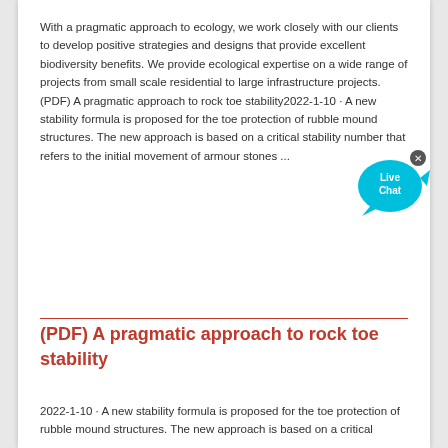With a pragmatic approach to ecology, we work closely with our clients to develop positive strategies and designs that provide excellent biodiversity benefits. We provide ecological expertise on a wide range of projects from small scale residential to large infrastructure projects.(PDF) A pragmatic approach to rock toe stability2022-1-10 · A new stability formula is proposed for the toe protection of rubble mound structures. The new approach is based on a critical stability number that refers to the initial movement of armour stones ...
[Figure (other): Live Chat button widget — a teal speech bubble with 'Live Chat' text and a close (x) button]
(PDF) A pragmatic approach to rock toe stability
2022-1-10 · A new stability formula is proposed for the toe protection of rubble mound structures. The new approach is based on a critical